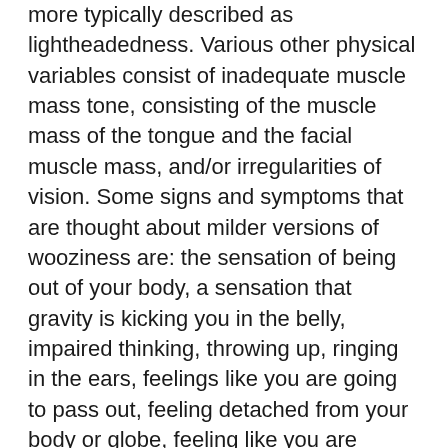more typically described as lightheadedness. Various other physical variables consist of inadequate muscle mass tone, consisting of the muscle mass of the tongue and the facial muscle mass, and/or irregularities of vision. Some signs and symptoms that are thought about milder versions of wooziness are: the sensation of being out of your body, a sensation that gravity is kicking you in the belly, impaired thinking, throwing up, ringing in the ears, feelings like you are going to pass out, feeling detached from your body or globe, feeling like you are freaking out, or feelings that nothing makes good sense.
Trouble Breathing Confusion Dizzy And Headache Symptoms
vertigo is generally dealt with by one or